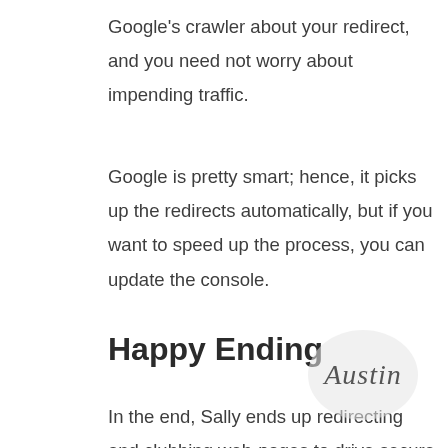Google's crawler about your redirect, and you need not worry about impending traffic.
Google is pretty smart; hence, it picks up the redirects automatically, but if you want to speed up the process, you can update the console.
Happy Ending
In the end, Sally ends up redirecting and clubbing web-pages to drive secure and huge amounts of traffic. The best way to ensure consistent traffic is by maintaining redirects